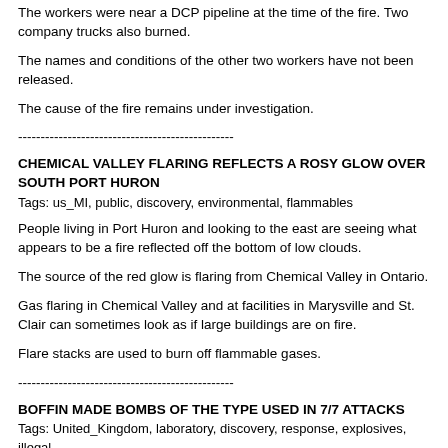The workers were near a DCP pipeline at the time of the fire. Two company trucks also burned.
The names and conditions of the other two workers have not been released.
The cause of the fire remains under investigation.
------------------------------------------------
CHEMICAL VALLEY FLARING REFLECTS A ROSY GLOW OVER SOUTH PORT HURON
Tags: us_MI, public, discovery, environmental, flammables
People living in Port Huron and looking to the east are seeing what appears to be a fire reflected off the bottom of low clouds.
The source of the red glow is flaring from Chemical Valley in Ontario.
Gas flaring in Chemical Valley and at facilities in Marysville and St. Clair can sometimes look as if large buildings are on fire.
Flare stacks are used to burn off flammable gases.
------------------------------------------------
BOFFIN MADE BOMBS OF THE TYPE USED IN 7/7 ATTACKS
Tags: United_Kingdom, laboratory, discovery, response, explosives, illegal
retired chemical analyst who made an explosive of the type used in the 7/7 bombings has avoided jail.
David Taylor‰??s home in Golcar was raided last year after an internet service provider alerted police that he was buying chemicals online.
The 71-year-old had used his purchases to make two types of explosives.